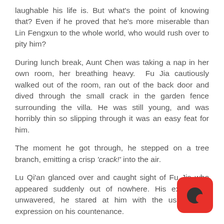laughable his life is. But what's the point of knowing that? Even if he proved that he's more miserable than Lin Fengxun to the whole world, who would rush over to pity him?
During lunch break, Aunt Chen was taking a nap in her own room, her breathing heavy. Fu Jia cautiously walked out of the room, ran out of the back door and dived through the small crack in the garden fence surrounding the villa. He was still young, and was horribly thin so slipping through it was an easy feat for him.
The moment he got through, he stepped on a tree branch, emitting a crisp 'crack!' into the air.
Lu Qi'an glanced over and caught sight of Fu Jia who appeared suddenly out of nowhere. His expression unwavered, he stared at him with the usual calm expression on his countenance.
Frozen stiff, Fu Jia didn't dare to budge an inch.
[Figure (logo): Red rounded square app icon with a crescent moon symbol in dark color on center]